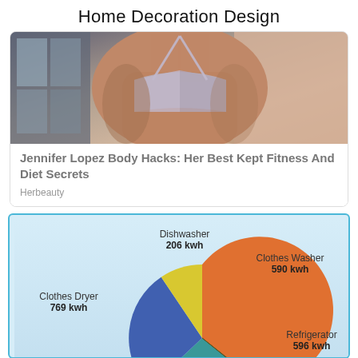Home Decoration Design
[Figure (photo): Photo of a fit woman in a grey halter bikini top, cropped from shoulders to torso, posed against a wall with a window in the background.]
Jennifer Lopez Body Hacks: Her Best Kept Fitness And Diet Secrets
Herbeauty
[Figure (pie-chart): Home appliance energy usage]